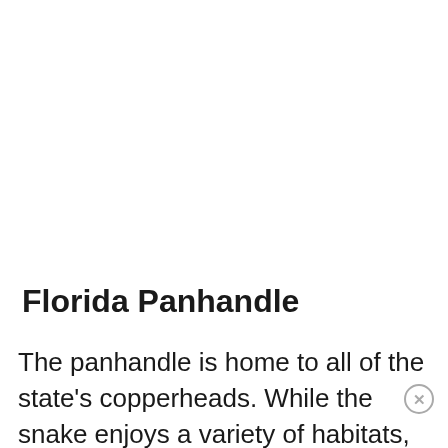Florida Panhandle
The panhandle is home to all of the state's copperheads. While the snake enjoys a variety of habitats, and can be found anywhere from Texas to Nebraska, and all the way east to Massachusetts, they only